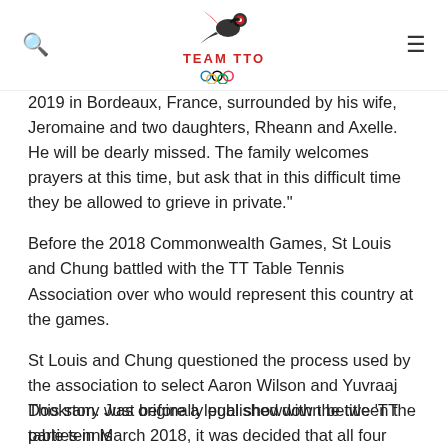TEAM TTO
2019 in Bordeaux, France, surrounded by his wife, Jeromaine and two daughters, Rheann and Axelle. He will be dearly missed. The family welcomes prayers at this time, but ask that in this difficult time they be allowed to grieve in private."
Before the 2018 Commonwealth Games, St Louis and Chung battled with the TT Table Tennis Association over who would represent this country at the games.
St Louis and Chung questioned the process used by the association to select Aaron Wilson and Yuvraaj Dookram. Just before a legal showdown between the parties in March 2018, it was decided that all four players would represent TT at the 2018 Commonwealth Games in Australia from April 4-15.
This story was originally published with the title 'TT table tennis